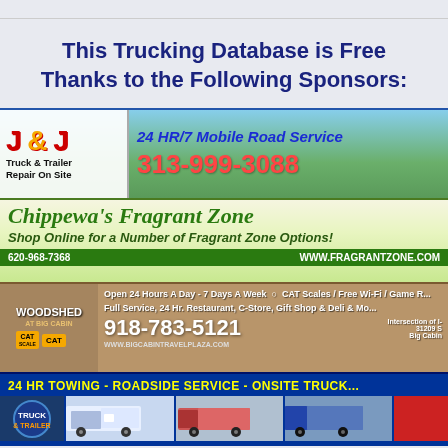This Trucking Database is Free Thanks to the Following Sponsors:
[Figure (infographic): J&J Truck & Trailer Repair On Site advertisement. 24 HR/7 Mobile Road Service. Phone: 313-999-3088]
[Figure (infographic): Chippewa's Fragrant Zone advertisement. Shop Online for a Number of Fragrant Zone Options! Phone: 620-968-7368, Website: www.fragrantzone.com]
[Figure (infographic): Woodshed at Big Cabin advertisement. Open 24 Hours A Day - 7 Days A Week. CAT Scales / Free Wi-Fi / Game Room. Full Service, 24 Hr. Restaurant, C-Store, Gift Shop & Deli & More. Phone: 918-783-5121. www.bigcabintraveplaza.com. Intersection of I-, 31209 S, Big Cabin]
[Figure (infographic): 24 HR Towing - Roadside Service - Onsite Truck repair advertisement with truck photos]